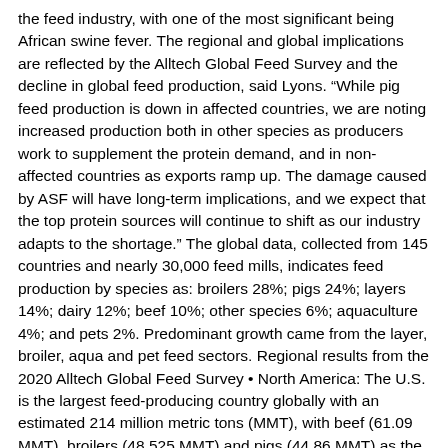the feed industry, with one of the most significant being African swine fever. The regional and global implications are reflected by the Alltech Global Feed Survey and the decline in global feed production, said Lyons. “While pig feed production is down in affected countries, we are noting increased production both in other species as producers work to supplement the protein demand, and in non-affected countries as exports ramp up. The damage caused by ASF will have long-term implications, and we expect that the top protein sources will continue to shift as our industry adapts to the shortage.” The global data, collected from 145 countries and nearly 30,000 feed mills, indicates feed production by species as: broilers 28%; pigs 24%; layers 14%; dairy 12%; beef 10%; other species 6%; aquaculture 4%; and pets 2%. Predominant growth came from the layer, broiler, aqua and pet feed sectors. Regional results from the 2020 Alltech Global Feed Survey • North America: The U.S. is the largest feed-producing country globally with an estimated 214 million metric tons (MMT), with beef (61.09 MMT), broilers (48.525 MMT) and pigs (44.86 MMT) as the leading species. North America saw steady growth of 1.6% over last year. Canada produced 21.6 MMT with pigs (8.23 MMT), broilers (3.25 MMT) and dairy (4.2 MMT) leading species feed production. • Latin America: As a region, Latin America saw 2.2% growth to 167.9 MMT. Brazil